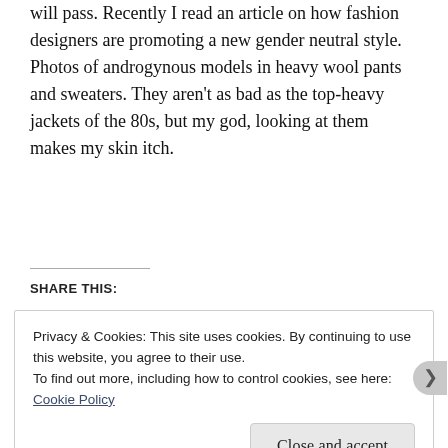will pass. Recently I read an article on how fashion designers are promoting a new gender neutral style. Photos of androgynous models in heavy wool pants and sweaters. They aren't as bad as the top-heavy jackets of the 80s, but my god, looking at them makes my skin itch.
SHARE THIS:
Privacy & Cookies: This site uses cookies. By continuing to use this website, you agree to their use.
To find out more, including how to control cookies, see here: Cookie Policy
Close and accept